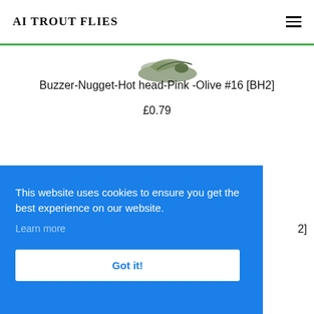AI TROUT FLIES
[Figure (photo): Partial image of a fishing fly (Buzzer-Nugget-Hot head-Pink-Olive #16 [BH2]), partially cropped at top of page]
Buzzer-Nugget-Hot head-Pink -Olive #16 [BH2]
£0.79
This website uses cookies to ensure you get the best experience on our website.
Learn more
Got it!
2]